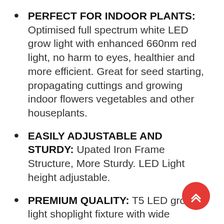PERFECT FOR INDOOR PLANTS: Optimised full spectrum white LED grow light with enhanced 660nm red light, no harm to eyes, healthier and more efficient. Great for seed starting, propagating cuttings and growing indoor flowers vegetables and other houseplants.
EASILY ADJUSTABLE AND STURDY: Upated Iron Frame Structure, More Sturdy. LED Light height adjustable.
PREMIUM QUALITY: T5 LED grow light shoplight fixture with wide reflector provides maximum coverage,ETL Listed.Safe and reliable.
ENERGY EFFICIENT: Use High efficiency,